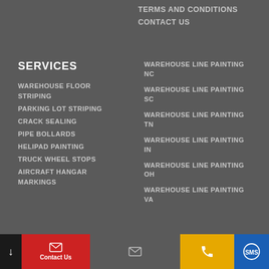TERMS AND CONDITIONS
CONTACT US
SERVICES
WAREHOUSE FLOOR STRIPING
PARKING LOT STRIPING
CRACK SEALING
PIPE BOLLARDS
HELIPAD PAINTING
TRUCK WHEEL STOPS
AIRCRAFT HANGAR MARKINGS
WAREHOUSE LINE PAINTING NC
WAREHOUSE LINE PAINTING SC
WAREHOUSE LINE PAINTING TN
WAREHOUSE LINE PAINTING IN
WAREHOUSE LINE PAINTING OH
WAREHOUSE LINE PAINTING VA
Contact Us | Email | Phone | SMS